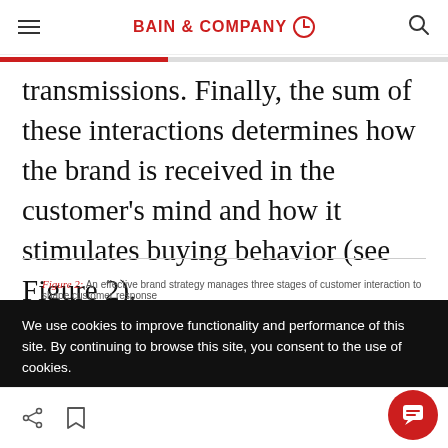BAIN & COMPANY
transmissions. Finally, the sum of these interactions determines how the brand is received in the customer's mind and how it stimulates buying behavior (see Figure 2).
Figure 2: An effective brand strategy manages three stages of customer interaction to shape customer response
We use cookies to improve functionality and performance of this site. By continuing to browse this site, you consent to the use of cookies.
ACCEPT ALL COOKIES